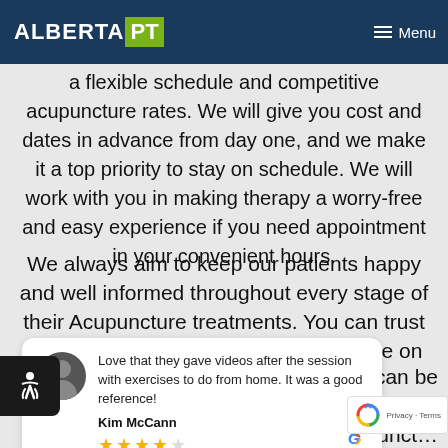Alberta PT — Menu
We understand how important it is for a clinic to have a flexible schedule and competitive acupuncture rates. We will give you cost and dates in advance from day one, and we make it a top priority to stay on schedule. We will work with you in making therapy a worry-free and easy experience if you need appointment in your convenient hours.
We always aim to keep our patients happy and well informed throughout every stage of their Acupuncture treatments. You can trust us with your care while you concentrate on your everyday tasks and
Love that they gave videos after the session with exercises to do from home. It was a good reference!
Kim McCann
★★★★☆